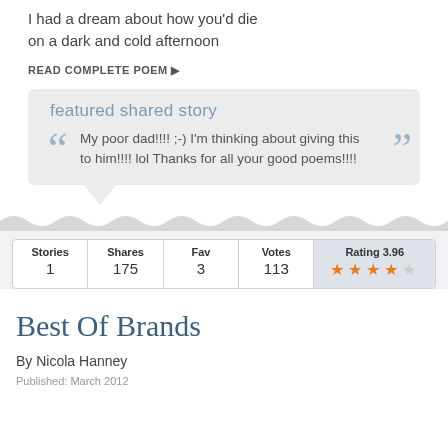I had a dream about how you'd die
on a dark and cold afternoon
READ COMPLETE POEM ▶
featured shared story
My poor dad!!!! ;-) I'm thinking about giving this to him!!!! lol Thanks for all your good poems!!!!
| Stories | Shares | Fav | Votes | Rating 3.96 |
| --- | --- | --- | --- | --- |
| 1 | 175 | 3 | 113 | ★★★★☆ |
Best Of Brands
By Nicola Hanney
Published: March 2012